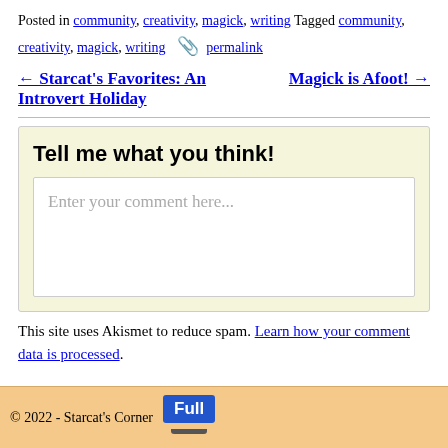Posted in community, creativity, magick, writing Tagged community, creativity, magick, writing 📎 permalink
← Starcat's Favorites: An Introvert Holiday    Magick is Afoot! →
Tell me what you think!
Enter your comment here...
This site uses Akismet to reduce spam. Learn how your comment data is processed.
© 2022 - Starcat's Corner